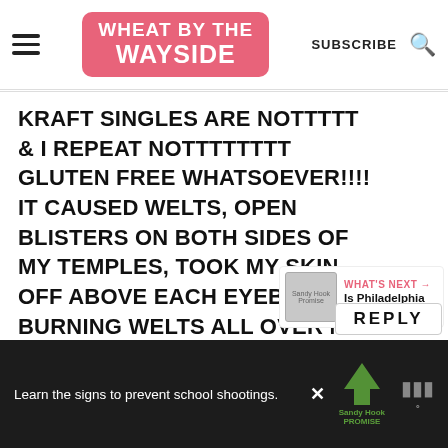WHEAT BY THE WAYSIDE | SUBSCRIBE
KRAFT SINGLES ARE NOTTTTT & I REPEAT NOTTTTTTTT GLUTEN FREE WHATSOEVER!!!! IT CAUSED WELTS, OPEN BLISTERS ON BOTH SIDES OF MY TEMPLES, TOOK MY SKIN OFF ABOVE EACH EYEBROW, BURNING WELTS ALL OVER MY SCALP, BEHIND BOTH EARS!!!
[Figure (other): Like button with heart icon (red/pink circle) and count 259, and share button below]
[Figure (other): What's Next panel: thumbnail of Sandy Hook Promise content with label WHAT'S NEXT and text 'Is Philadelphia Cream Chee...']
[Figure (other): Ad banner at bottom: black background, text 'Learn the signs to prevent school shootings.' with Sandy Hook Promise tree logo and X close button]